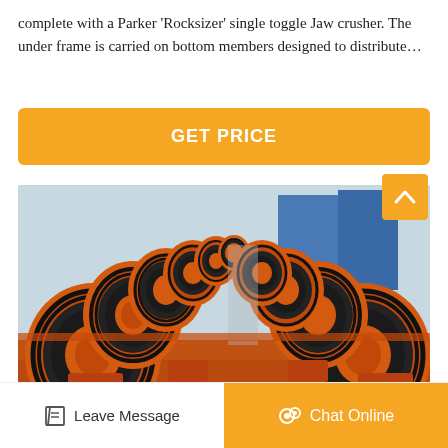complete with a Parker 'Rocksizer' single toggle Jaw crusher. The under frame is carried on bottom members designed to distribute…
[Figure (other): Orange 'GET PRICE' button with rounded corners on yellow-orange background]
[Figure (photo): Photo of industrial jaw crusher flywheel components — multiple large orange cast-iron wheels with black rubber/belt grooves, arranged in two rows in a factory/yard setting with a blue metal structure visible in the background.]
[Figure (other): Orange scroll-to-top button with upward chevron arrow icon, positioned bottom-right over the photo]
Leave Message
Chat Online